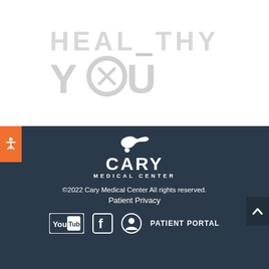[Figure (logo): Healthy You watermark logo in light gray, showing 'HEALTHY' text above 'YOU' text with a button/circle icon replacing the O in YOU]
[Figure (logo): Cary Medical Center logo with bird silhouette above CARY text and MEDICAL CENTER subtitle, white on dark navy background]
©2022 Cary Medical Center All rights reserved.
Patient Privacy
[Figure (infographic): Footer social/portal icons row: YouTube logo, Facebook logo, Patient Portal icon with label PATIENT PORTAL, all white on dark navy]
[Figure (other): Orange accessibility icon button on left edge]
[Figure (other): Dark scroll-to-top button with upward caret on right edge]